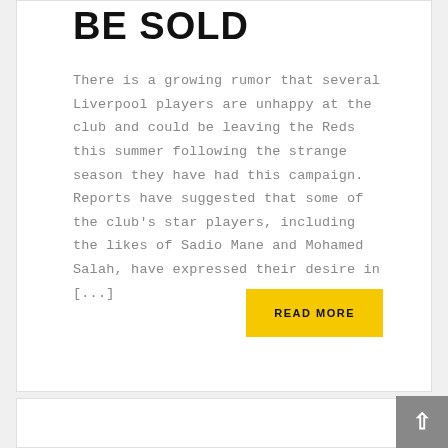BE SOLD
There is a growing rumor that several Liverpool players are unhappy at the club and could be leaving the Reds this summer following the strange season they have had this campaign. Reports have suggested that some of the club's star players, including the likes of Sadio Mane and Mohamed Salah, have expressed their desire in [...]